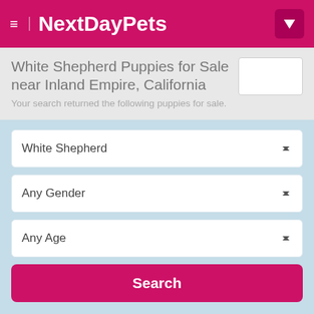NextDayPets
White Shepherd Puppies for Sale near Inland Empire, California
Your search returned the following puppies for sale.
White Shepherd
Any Gender
Any Age
Search
+ More Filter Options
Home / Dog Breeds / Dog Breeds / Puppies For Sale / White Shepherd / Puppies for Sale near Inland Empire, California